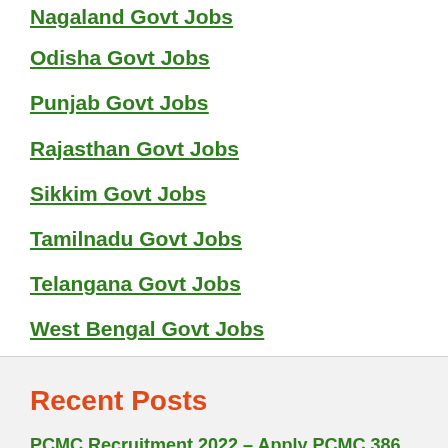Nagaland Govt Jobs
Odisha Govt Jobs
Punjab Govt Jobs
Rajasthan Govt Jobs
Sikkim Govt Jobs
Tamilnadu Govt Jobs
Telangana Govt Jobs
West Bengal Govt Jobs
Recent Posts
PCMC Recruitment 2022 – Apply PCMC 386 Clerk and other Vacancy @pcmc.gov.in